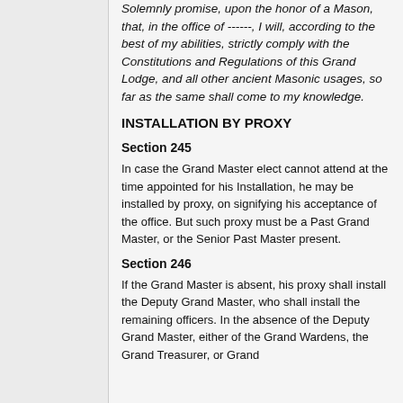Solemnly promise, upon the honor of a Mason, that, in the office of ------, I will, according to the best of my abilities, strictly comply with the Constitutions and Regulations of this Grand Lodge, and all other ancient Masonic usages, so far as the same shall come to my knowledge.
INSTALLATION BY PROXY
Section 245
In case the Grand Master elect cannot attend at the time appointed for his Installation, he may be installed by proxy, on signifying his acceptance of the office. But such proxy must be a Past Grand Master, or the Senior Past Master present.
Section 246
If the Grand Master is absent, his proxy shall install the Deputy Grand Master, who shall install the remaining officers. In the absence of the Deputy Grand Master, either of the Grand Wardens, the Grand Treasurer, or Grand Secretary, may also install him and